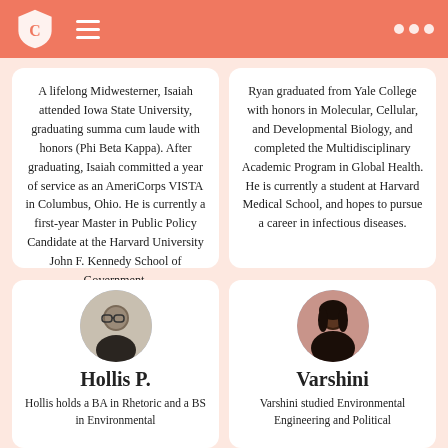[Figure (screenshot): Top navigation bar with orange/coral background, shield logo with C on left, hamburger menu lines, and three white dots on right]
A lifelong Midwesterner, Isaiah attended Iowa State University, graduating summa cum laude with honors (Phi Beta Kappa). After graduating, Isaiah committed a year of service as an AmeriCorps VISTA in Columbus, Ohio. He is currently a first-year Master in Public Policy Candidate at the Harvard University John F. Kennedy School of Government.
Ryan graduated from Yale College with honors in Molecular, Cellular, and Developmental Biology, and completed the Multidisciplinary Academic Program in Global Health. He is currently a student at Harvard Medical School, and hopes to pursue a career in infectious diseases.
[Figure (photo): Circular avatar photo of Hollis P., a man wearing glasses and a dark shirt]
Hollis P.
Hollis holds a BA in Rhetoric and a BS in Environmental
[Figure (photo): Circular avatar photo of Varshini, a woman with long dark hair]
Varshini
Varshini studied Environmental Engineering and Political